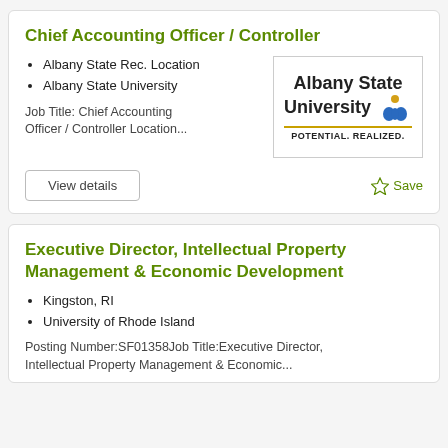Chief Accounting Officer / Controller
Albany State Rec. Location
Albany State University
Job Title: Chief Accounting Officer / Controller Location...
[Figure (logo): Albany State University logo with text 'Albany State University' and tagline 'POTENTIAL. REALIZED.' with a stylized icon in blue and gold]
View details
Save
Executive Director, Intellectual Property Management & Economic Development
Kingston, RI
University of Rhode Island
Posting Number:SF01358Job Title:Executive Director, Intellectual Property Management & Economic...